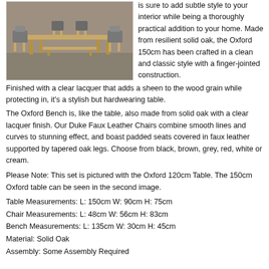[Figure (photo): Dining set with wooden table, chairs with grey upholstery, and a bench on a grey floor]
is sure to add subtle style to your interior while being a thoroughly practical addition to your home. Made from resilient solid oak, the Oxford 150cm has been crafted in a clean and classic style with a finger-jointed construction.
Finished with a clear lacquer that adds a sheen to the wood grain while protecting in, it's a stylish but hardwearing table.
The Oxford Bench is, like the table, also made from solid oak with a clear lacquer finish. Our Duke Faux Leather Chairs combine smooth lines and curves to stunning effect, and boast padded seats covered in faux leather supported by tapered oak legs. Choose from black, brown, grey, red, white or cream.
Please Note: This set is pictured with the Oxford 120cm Table. The 150cm Oxford table can be seen in the second image.
Table Measurements: L: 150cm W: 90cm H: 75cm
Chair Measurements: L: 48cm W: 56cm H: 83cm
Bench Measurements: L: 135cm W: 30cm H: 45cm
Material: Solid Oak
Assembly: Some Assembly Required